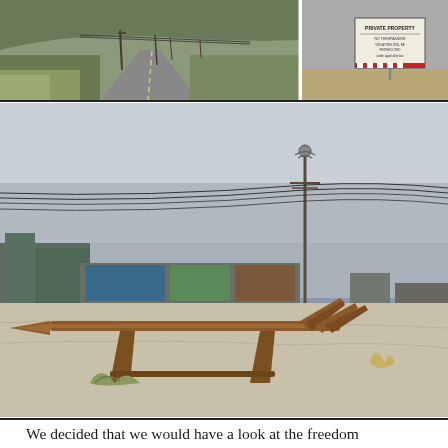[Figure (photo): Two photos side by side at the top. Left: a rural road stretching into the distance with utility poles and dry grass on the sides under an overcast sky. Right: a 'PRIVATE PROPERTY' sign on the side of a dirt road.]
[Figure (photo): Large photo of an industrial waterfront area with a large metal arrow/anchor sculpture made of rusty pipes on a gravel lot, graffiti-covered walls in the background, utility poles, overcast sky.]
We decided that we would have a look at the freedom camped land but it was difficult to find. At one point we